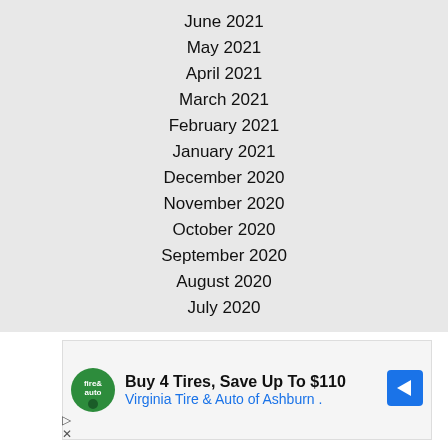June 2021
May 2021
April 2021
March 2021
February 2021
January 2021
December 2020
November 2020
October 2020
September 2020
August 2020
July 2020
[Figure (other): Advertisement: Buy 4 Tires, Save Up To $110 - Virginia Tire & Auto of Ashburn with logo and arrow icon]